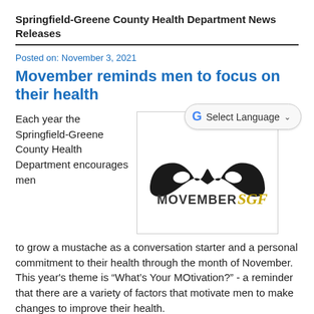Springfield-Greene County Health Department News Releases
Posted on: November 3, 2021
Movember reminds men to focus on their health
[Figure (logo): Movember SGF logo with black mustache silhouette above the text MOVEMBERSGF where SGF is in gold script]
Each year the Springfield-Greene County Health Department encourages men to grow a mustache as a conversation starter and a personal commitment to their health through the month of November. This year's theme is “What’s Your MOtivation?” - a reminder that there are a variety of factors that motivate men to make changes to improve their health.
“My motivation is my three children,” said Assistant Health Director Jon Mooney. “I take steps to make sure I can be there for them, both now and for years to come.”